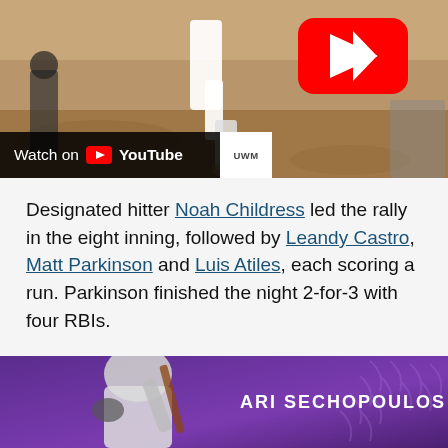[Figure (screenshot): YouTube video thumbnail showing a baseball game with players running on a dirt field. A YouTube play button (red rectangle with white triangle) is visible in the upper right of the video. A scorebar at the bottom shows 'Watch on YouTube' overlay with UWM badge.]
Designated hitter Noah Childress led the rally in the eight inning, followed by Leandy Castro, Matt Parkinson and Luis Atiles, each scoring a run. Parkinson finished the night 2-for-3 with four RBIs.
[Figure (photo): Partial bottom image showing a baseball player in white uniform in batting stance against a purple background with 'ARI SECHOPOULOS' text and decorative baseball stitches.]